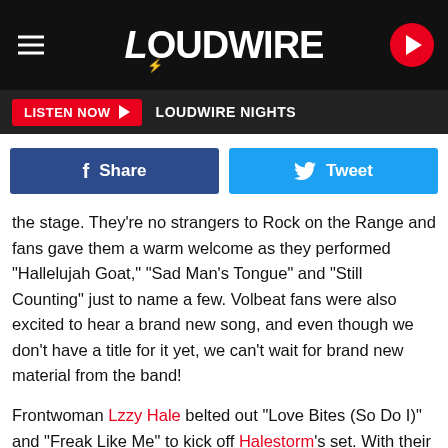LOUDWIRE
LISTEN NOW ▶  LOUDWIRE NIGHTS
[Figure (screenshot): Facebook Share button (blue) and Twitter Tweet button (cyan)]
the stage. They're no strangers to Rock on the Range and fans gave them a warm welcome as they performed "Hallelujah Goat," "Sad Man's Tongue" and "Still Counting" just to name a few. Volbeat fans were also excited to hear a brand new song, and even though we don't have a title for it yet, we can't wait for brand new material from the band!
Frontwoman Lzzy Hale belted out "Love Bites (So Do I)" and "Freak Like Me" to kick off Halestorm's set. With their new disc Into the Wild Life, the band performed fresh tracks "I Am the Fire," "Scream," "Mayhem," "I Like It Heavy" and